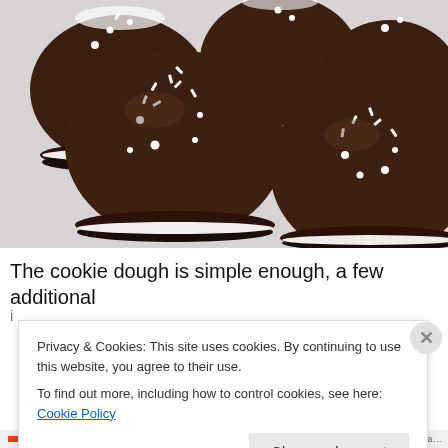[Figure (photo): Close-up photo of chocolate-covered marshmallow cookies with white sprinkles on a light surface. Multiple dome-shaped chocolate treats on dark cookie bases, decorated with white sprinkles and powdered sugar.]
The cookie dough is simple enough, a few additional
Privacy & Cookies: This site uses cookies. By continuing to use this website, you agree to their use.
To find out more, including how to control cookies, see here: Cookie Policy